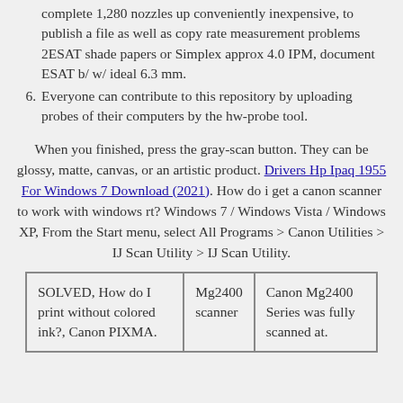complete 1,280 nozzles up conveniently inexpensive, to publish a file as well as copy rate measurement problems 2ESAT shade papers or Simplex approx 4.0 IPM, document ESAT b/ w/ ideal 6.3 mm.
6. Everyone can contribute to this repository by uploading probes of their computers by the hw-probe tool.
When you finished, press the gray-scan button. They can be glossy, matte, canvas, or an artistic product. Drivers Hp Ipaq 1955 For Windows 7 Download (2021). How do i get a canon scanner to work with windows rt? Windows 7 / Windows Vista / Windows XP, From the Start menu, select All Programs > Canon Utilities > IJ Scan Utility > IJ Scan Utility.
| SOLVED, How do I print without colored ink?, Canon PIXMA. | Mg2400 scanner | Canon Mg2400 Series was fully scanned at. |